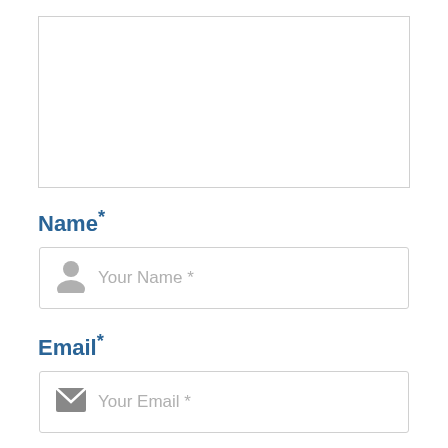[Figure (screenshot): Empty textarea form field with light gray border]
Name*
[Figure (screenshot): Name input field with person icon and placeholder text 'Your Name *']
Email*
[Figure (screenshot): Email input field with envelope icon and placeholder text 'Your Email *']
Website